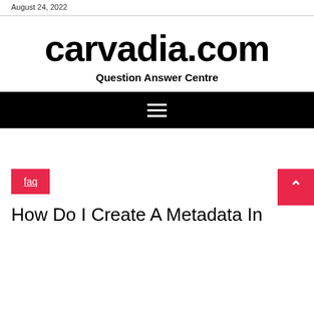August 24, 2022
carvadia.com
Question Answer Centre
[Figure (other): Black navigation bar with hamburger menu icon (three horizontal white lines)]
faq
How Do I Create A Metadata In